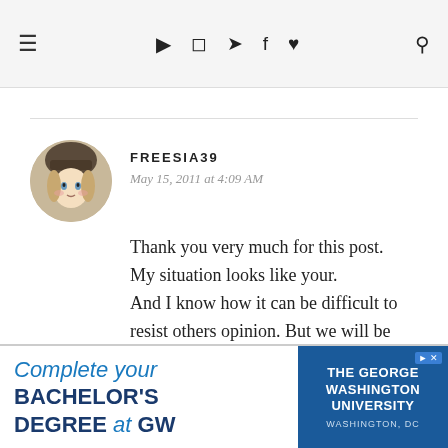≡ ▶ 📷 🐦 f ♥ 🔍
FREESIA39
May 15, 2011 at 4:09 AM

Thank you very much for this post.
My situation looks like your.
And I know how it can be difficult to resist others opinion. But we will be stronger.
Fighting!
[Figure (illustration): Circular avatar image of an anime-style doll character with light hair and a dark hat]
Complete your BACHELOR'S DEGREE at GW | THE GEORGE WASHINGTON UNIVERSITY WASHINGTON, DC